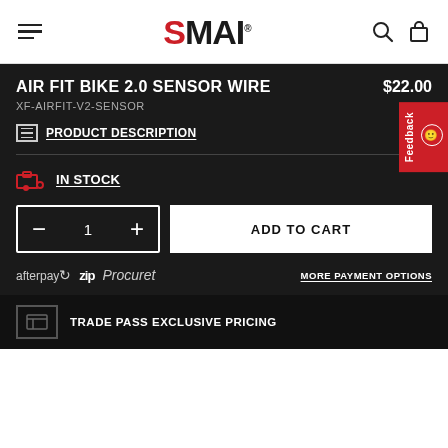SMAI
AIR FIT BIKE 2.0 SENSOR WIRE $22.00
XF-AIRFIT-V2-SENSOR
PRODUCT DESCRIPTION
IN STOCK
1
ADD TO CART
afterpay  zip  Procuret  MORE PAYMENT OPTIONS
TRADE PASS EXCLUSIVE PRICING